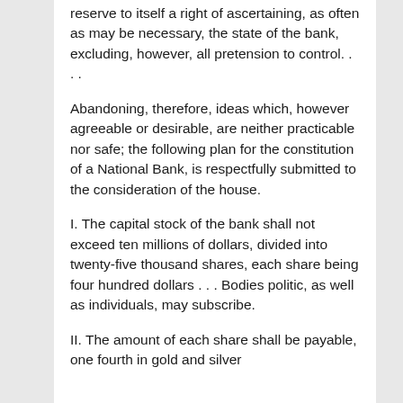reserve to itself a right of ascertaining, as often as may be necessary, the state of the bank, excluding, however, all pretension to control. . . .
Abandoning, therefore, ideas which, however agreeable or desirable, are neither practicable nor safe; the following plan for the constitution of a National Bank, is respectfully submitted to the consideration of the house.
I. The capital stock of the bank shall not exceed ten millions of dollars, divided into twenty-five thousand shares, each share being four hundred dollars . . . Bodies politic, as well as individuals, may subscribe.
II. The amount of each share shall be payable, one fourth in gold and silver